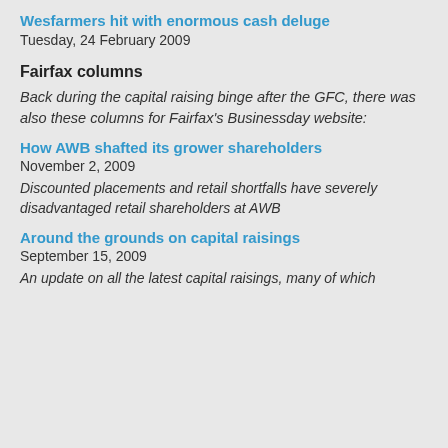Wesfarmers hit with enormous cash deluge
Tuesday, 24 February 2009
Fairfax columns
Back during the capital raising binge after the GFC, there was also these columns for Fairfax's Businessday website:
How AWB shafted its grower shareholders
November 2, 2009
Discounted placements and retail shortfalls have severely disadvantaged retail shareholders at AWB
Around the grounds on capital raisings
September 15, 2009
An update on all the latest capital raisings, many of which continue to shaft retail investors